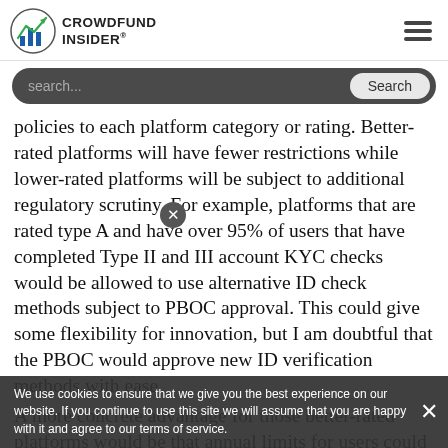CROWDFUND INSIDER
policies to each platform category or rating. Better-rated platforms will have fewer restrictions while lower-rated platforms will be subject to additional regulatory scrutiny. For example, platforms that are rated type A and have over 95% of users that have completed Type II and III account KYC checks would be allowed to use alternative ID check methods subject to PBOC approval. This could give some flexibility for innovation, but I am doubtful that the PBOC would approve new ID verification methods with ease.
A more concrete advantage for those better-rated platforms would be that annual limits for users could be raised to 1.5 or 2 times that of the standard limits I outlined above. Annual limits cannot be
We use cookies to ensure that we give you the best experience on our website. If you continue to use this site we will assume that you are happy with it and agree to our terms of service.